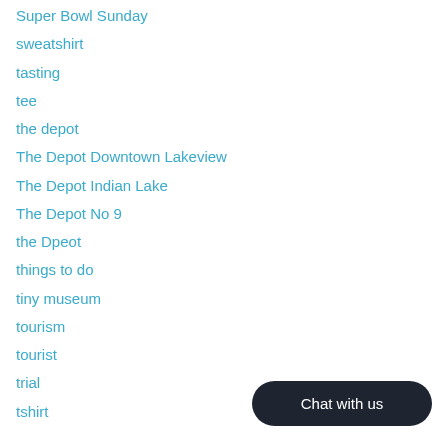Super Bowl Sunday
sweatshirt
tasting
tee
the depot
The Depot Downtown Lakeview
The Depot Indian Lake
The Depot No 9
the Dpeot
things to do
tiny museum
tourism
tourist
trial
tshirt
Chat with us